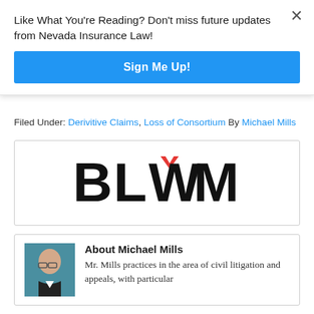Like What You're Reading? Don't miss future updates from Nevada Insurance Law!
Sign Me Up!
Filed Under: Derivitive Claims, Loss of Consortium By Michael Mills
[Figure (logo): BLWM law firm logo — bold black letters B, L, W, M with a red chevron/checkmark accent above the W]
About Michael Mills
Mr. Mills practices in the area of civil litigation and appeals, with particular